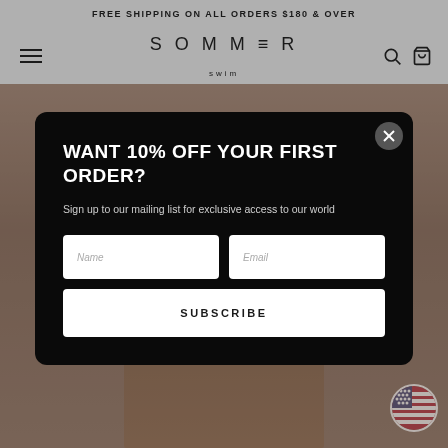FREE SHIPPING ON ALL ORDERS $180 & OVER
SOMMER swim
[Figure (screenshot): Swimwear model photo used as modal background]
WANT 10% OFF YOUR FIRST ORDER?
Sign up to our mailing list for exclusive access to our world
Name
Email
SUBSCRIBE